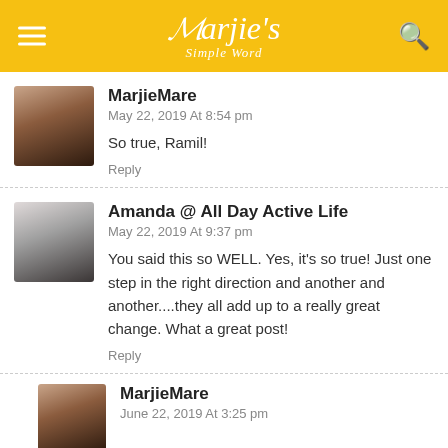Marjie's Simple Word
MarjieMare
May 22, 2019 At 8:54 pm
So true, Ramil!
Reply
Amanda @ All Day Active Life
May 22, 2019 At 9:37 pm
You said this so WELL. Yes, it's so true! Just one step in the right direction and another and another....they all add up to a really great change. What a great post!
Reply
MarjieMare
June 22, 2019 At 3:25 pm